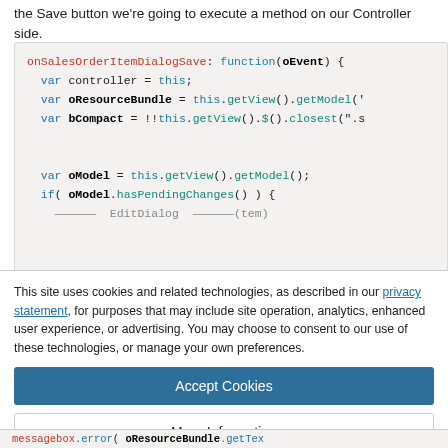the Save button we're going to execute a method on our Controller side.
[Figure (screenshot): Code block showing JavaScript function onSalesOrderItemDialogSave with syntax highlighting. Code includes variable declarations: var controller = this; var oResourceBundle = this.getView().getModel(...); var bCompact = !!this.getView().$().closest('.s...'); var oModel = this.getView().getModel(); if( oModel.hasPendingChanges() ) { ...EditDialog...]
This site uses cookies and related technologies, as described in our privacy statement, for purposes that may include site operation, analytics, enhanced user experience, or advertising. You may choose to consent to our use of these technologies, or manage your own preferences.
Accept Cookies
More Information
Privacy Policy | Powered by: TrustArc